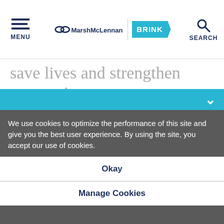MENU | MarshMcLennan BRINK | SEARCH
save lives and strengthen economies. Even though the past year has triggered significant setbacks for gender parity, this is also a teachable moment for leaders to turn the tide. Organizations have an
We use cookies to optimize the performance of this site and give you the best user experience. By using the site, you accept our use of cookies.
Okay
Manage Cookies